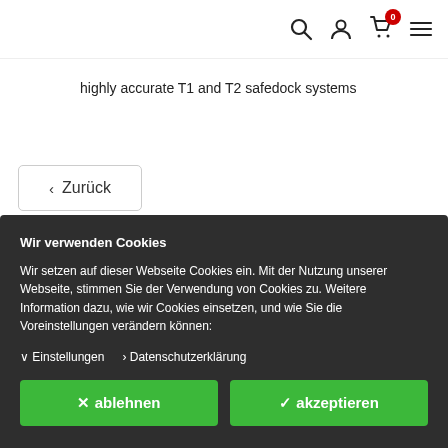[Figure (screenshot): Navigation bar with search icon, user icon, cart icon with badge '0', and hamburger menu icon]
highly accurate T1 and T2 safedock systems
< Zurück
Wir verwenden Cookies
Wir setzen auf dieser Webseite Cookies ein. Mit der Nutzung unserer Webseite, stimmen Sie der Verwendung von Cookies zu. Weitere Information dazu, wie wir Cookies einsetzen, und wie Sie die Voreinstellungen verändern können:
∨ Einstellungen  > Datenschutzerklärung
× ablehnen
✓ akzeptieren